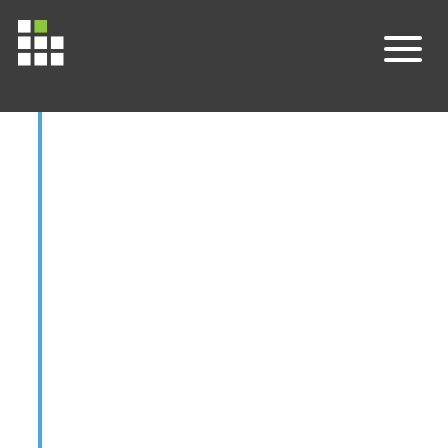Mondo; Conor Judge; Hans Christoph Diener; Danuta Ryglewicz; Anna Czlonkowska; Nana Pogosova; Christian Weimar; Romana Iqbal; Rafael Diaz; Khalid Yusoff; Afzalhussein Yusufali; Aytekin Oguz; Ernesto Penaherrera; Fernando Lanas; Okechukwu S. Ogah; Adesola Ogunniyi; Helle K. Iversen; German Malaga; Zvonko Rumboldt; Shahram Oveisgharan; Fawaz